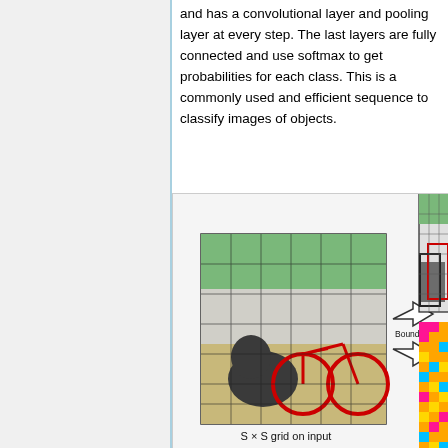and has a convolutional layer and pooling layer at every step. The last layers are fully connected and use softmax to get probabilities for each class. This is a commonly used and efficient sequence to classify images of objects.
[Figure (illustration): Diagram showing YOLO-style object detection: left side shows a dog and bicycle image with an S×S grid overlay labeled 'S × S grid on input'; right side (partially visible) shows bounding boxes image and a colored grid representing class probability maps. Arrow labeled 'Bounding boxes +' points from grid image to right side outputs.]